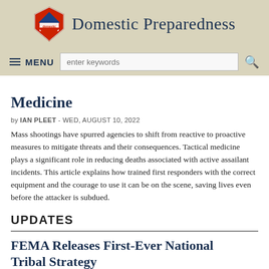Domestic Preparedness
Medicine
by IAN PLEET - WED, AUGUST 10, 2022
Mass shootings have spurred agencies to shift from reactive to proactive measures to mitigate threats and their consequences. Tactical medicine plays a significant role in reducing deaths associated with active assailant incidents. This article explains how trained first responders with the correct equipment and the courage to use it can be on the scene, saving lives even before the attacker is subdued.
UPDATES
FEMA Releases First-Ever National Tribal Strategy